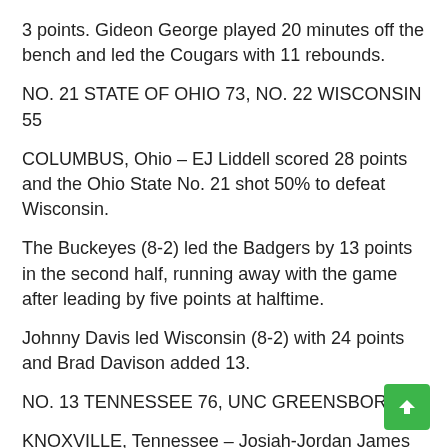3 points. Gideon George played 20 minutes off the bench and led the Cougars with 11 rebounds.
NO. 21 STATE OF OHIO 73, NO. 22 WISCONSIN 55
COLUMBUS, Ohio – EJ Liddell scored 28 points and the Ohio State No. 21 shot 50% to defeat Wisconsin.
The Buckeyes (8-2) led the Badgers by 13 points in the second half, running away with the game after leading by five points at halftime.
Johnny Davis led Wisconsin (8-2) with 24 points and Brad Davison added 13.
NO. 13 TENNESSEE 76, UNC GREENSBORO 36
KNOXVILLE, Tennessee – Josiah-Jordan James and Brandon Huntley-Hatfield each scored 12 points to lead Tennessee against UNC Greensboro.